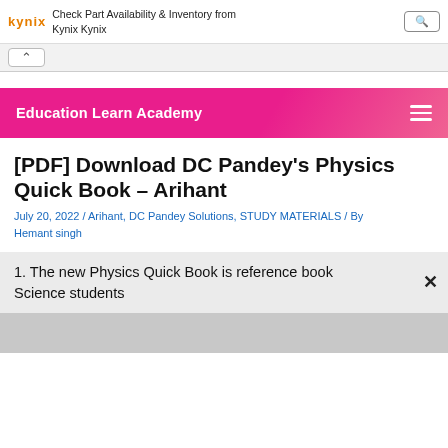Check Part Availability & Inventory from Kynix Kynix
[Figure (screenshot): Website header with Kynix logo, ad text 'Check Part Availability & Inventory from Kynix Kynix', and a search button]
Education Learn Academy
[PDF] Download DC Pandey's Physics Quick Book – Arihant
July 20, 2022 / Arihant, DC Pandey Solutions, STUDY MATERIALS / By Hemant singh
1. The new Physics Quick Book is reference book Science students